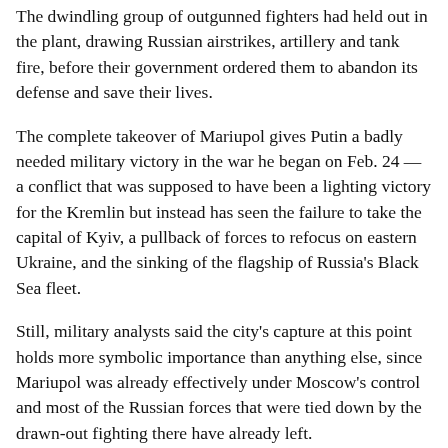The dwindling group of outgunned fighters had held out in the plant, drawing Russian airstrikes, artillery and tank fire, before their government ordered them to abandon its defense and save their lives.
The complete takeover of Mariupol gives Putin a badly needed military victory in the war he began on Feb. 24 — a conflict that was supposed to have been a lighting victory for the Kremlin but instead has seen the failure to take the capital of Kyiv, a pullback of forces to refocus on eastern Ukraine, and the sinking of the flagship of Russia's Black Sea fleet.
Still, military analysts said the city's capture at this point holds more symbolic importance than anything else, since Mariupol was already effectively under Moscow's control and most of the Russian forces that were tied down by the drawn-out fighting there have already left.
In other developments Friday, the West moved to pour billions more in aid into Ukraine and fighting raged in the the Donbas, the industrial heartland in eastern Ukraine that Putin is bent on